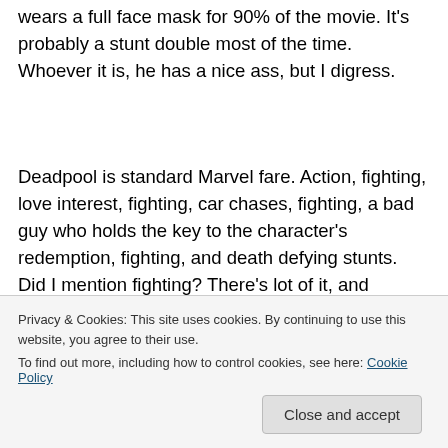wears a full face mask for 90% of the movie. It's probably a stunt double most of the time. Whoever it is, he has a nice ass, but I digress.
Deadpool is standard Marvel fare. Action, fighting, love interest, fighting, car chases, fighting, a bad guy who holds the key to the character's redemption, fighting, and death defying stunts. Did I mention fighting? There's lot of it, and plenty of blood and gore. Although not overtly gratuitous
Privacy & Cookies: This site uses cookies. By continuing to use this website, you agree to their use.
To find out more, including how to control cookies, see here: Cookie Policy
Close and accept